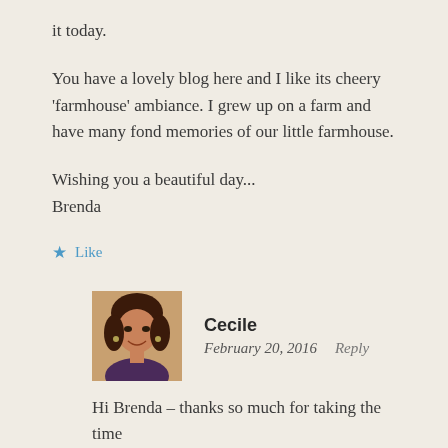it today.
You have a lovely blog here and I like its cheery ‘farmhouse’ ambiance. I grew up on a farm and have many fond memories of our little farmhouse.
Wishing you a beautiful day...
Brenda
★ Like
[Figure (photo): Profile photo of Cecile, a woman with dark hair]
Cecile
February 20, 2016   Reply
Hi Brenda – thanks so much for taking the time to comment. And thanks, as well, for linking